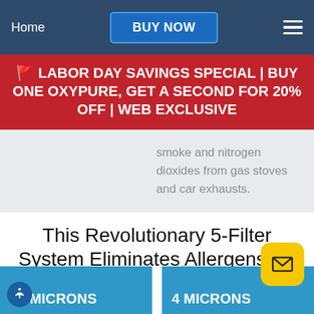Home | BUY NOW
🚩 LABOR DAY SAVINGS SPECIAL | BUY ONE OXYPURE, GET A SECOND FOR 20% OFF | WEB EXCLUSIVE
smoke and nitrogen dioxides from gas stoves and car exhausts.
This Revolutionary 5-Filter System Eliminates Allergens† & Pathogens¹ From Spaces Up To 1200* Square Feet!
10 MICRONS
4 MICRONS